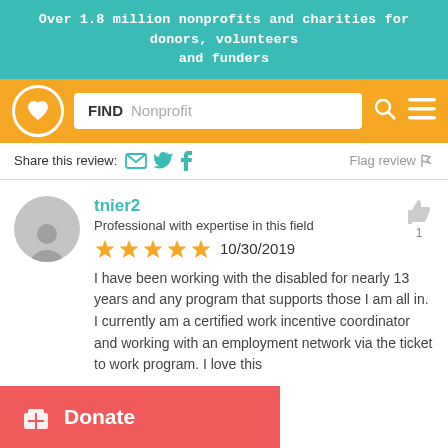Over 1.8 million nonprofits and charities for donors, volunteers and funders
[Figure (screenshot): Orange navigation bar with GuideStar/Candid logo (heart in circle), search box with FIND label and Nonprofit placeholder, search icon, and hamburger menu icon]
Share this review:  [email icon] [twitter icon] [facebook icon]    Flag review [flag icon]
tnier2
Professional with expertise in this field
★★★★★ 10/30/2019
I have been working with the disabled for nearly 13 years and any program that supports those I am all in. I currently am a certified work incentive coordinator and working with an employment network via the ticket to work program. I love this
Donate